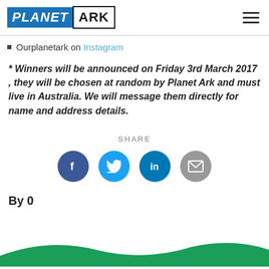PLANET ARK
Ourplanetark on Instagram
* Winners will be announced on Friday 3rd March 2017 , they will be chosen at random by Planet Ark and must live in Australia. We will message them directly for name and address details.
SHARE
[Figure (infographic): Social share icons: Facebook (dark blue circle), Twitter (light blue circle), LinkedIn (blue circle), Email (grey circle)]
By 0